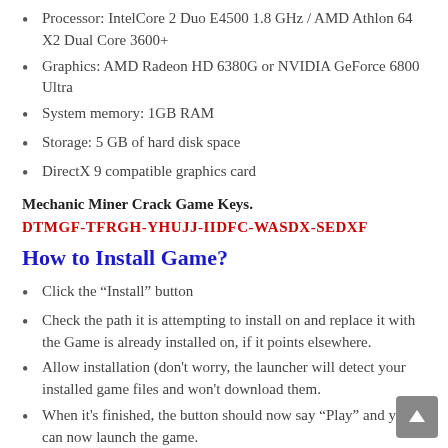Processor: IntelCore 2 Duo E4500 1.8 GHz / AMD Athlon 64 X2 Dual Core 3600+
Graphics: AMD Radeon HD 6380G or NVIDIA GeForce 6800 Ultra
System memory: 1GB RAM
Storage: 5 GB of hard disk space
DirectX 9 compatible graphics card
Mechanic Miner Crack Game Keys.
DTMGF-TFRGH-YHUJJ-IIDFC-WASDX-SEDXF
How to Install Game?
Click the "Install" button
Check the path it is attempting to install on and replace it with the Game is already installed on, if it points elsewhere.
Allow installation (don't worry, the launcher will detect your installed game files and won't download them.
When it's finished, the button should now say "Play" and you can now launch the game.
Instructions